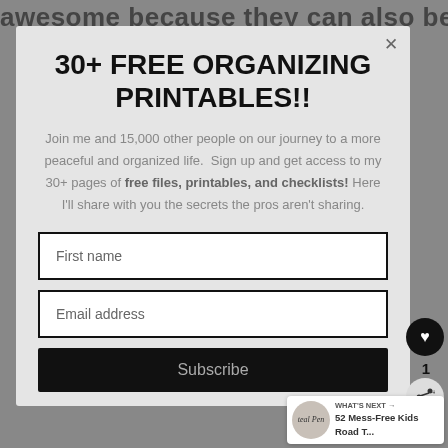awesome because they can also be used on
30+ FREE ORGANIZING PRINTABLES!!
Join me and 15,000 other people on our journey to a more peaceful and organized life. Sign up and get access to my 30+ pages of free files, printables, and checklists! Here I'll share with you the secrets the pros aren't sharing.
First name
Email address
Subscribe
1
WHAT'S NEXT → 52 Mess-Free Kids Road T...